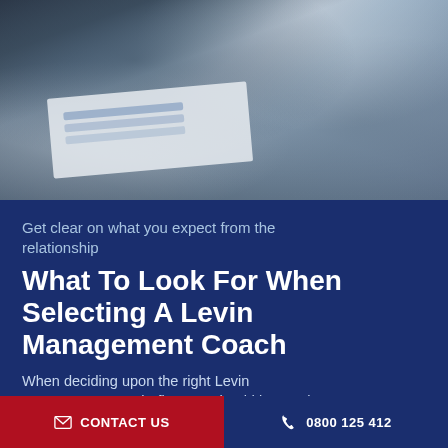[Figure (photo): Blurred business meeting photo showing two people shaking hands over a table with documents, wearing dark suits]
Get clear on what you expect from the relationship
What To Look For When Selecting A Levin Management Coach
When deciding upon the right Levin management coach, first you should know what
CONTACT US | 0800 125 412